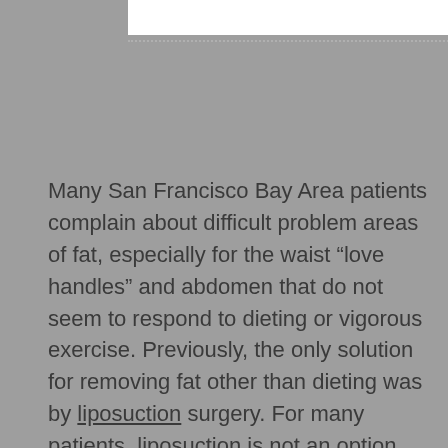Many San Francisco Bay Area patients complain about difficult problem areas of fat, especially for the waist “love handles” and abdomen that do not seem to respond to dieting or vigorous exercise. Previously, the only solution for removing fat other than dieting was by liposuction surgery. For many patients, liposuction is not an option due to required time off work for post-operative recovery and then there are some patients that just do not want to have surgery. CoolScuplting patients are thrilled that there isn’t any downtime, needles, scalpels, suction